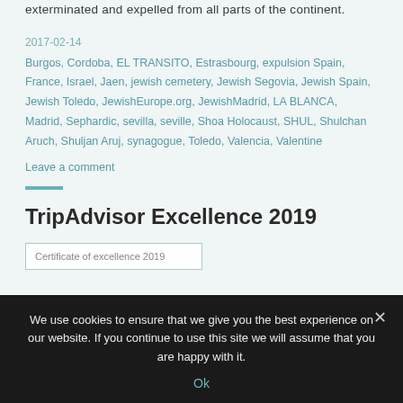exterminated and expelled from all parts of the continent.
2017-02-14
Burgos, Cordoba, EL TRANSITO, Estrasbourg, expulsion Spain, France, Israel, Jaen, jewish cemetery, Jewish Segovia, Jewish Spain, Jewish Toledo, JewishEurope.org, JewishMadrid, LA BLANCA, Madrid, Sephardic, sevilla, seville, Shoa Holocaust, SHUL, Shulchan Aruch, Shuljan Aruj, synagogue, Toledo, Valencia, Valentine
Leave a comment
TripAdvisor Excellence 2019
We use cookies to ensure that we give you the best experience on our website. If you continue to use this site we will assume that you are happy with it.
Ok